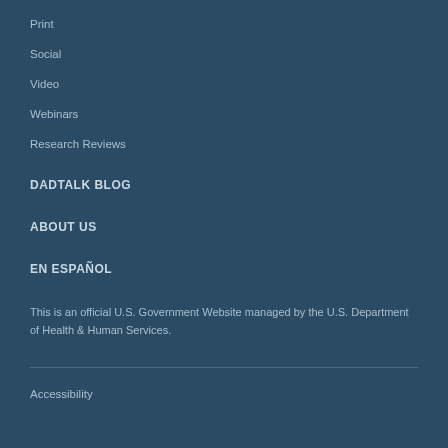Print
Social
Video
Webinars
Research Reviews
DADTALK BLOG
ABOUT US
EN ESPAÑOL
This is an official U.S. Government Website managed by the U.S. Department of Health & Human Services.
Accessibility